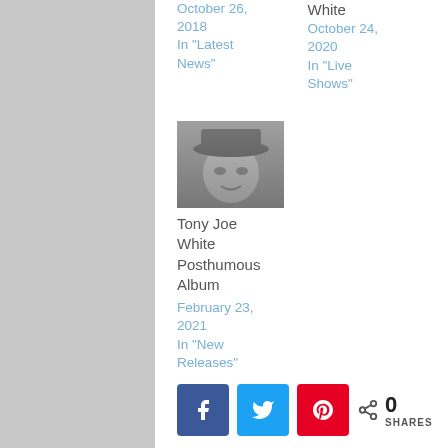October 26, 2018
In 'Latest News'
White
October 24, 2020
In 'Live Shows'
[Figure (photo): Black and white photo of Tony Joe White wearing a hat]
Tony Joe White Posthumous Album
February 23, 2021
In 'New Releases'